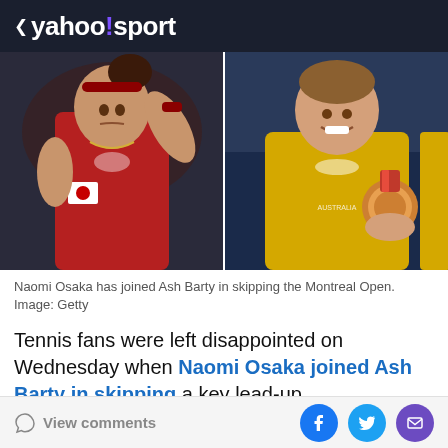< yahoo!sport
[Figure (photo): Two tennis players side by side: left shows Naomi Osaka in red Japan tennis outfit, right shows Ash Barty in yellow Australia outfit holding a bronze medal]
Naomi Osaka has joined Ash Barty in skipping the Montreal Open. Image: Getty
Tennis fans were left disappointed on Wednesday when Naomi Osaka joined Ash Barty in skipping a key lead-up
View comments